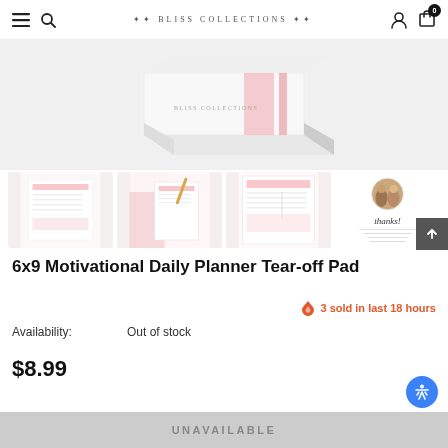BLISS COLLECTIONS
[Figure (photo): Product box for Bliss Collections 6x9 Motivational Daily Planner Tear-off Pad, white box with pink accents, viewed from above at an angle]
[Figure (photo): Thumbnail row showing four product photos: plain planner sheet, planner with pink/gold stationery, planner closeup, and a 'thanks!' card with couple photo]
6x9 Motivational Daily Planner Tear-off Pad
3 sold in last 18 hours
Availability:   Out of stock
$8.99
UNAVAILABLE